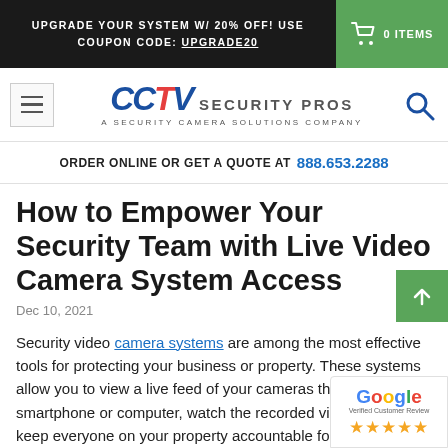UPGRADE YOUR SYSTEM W/ 20% OFF! USE COUPON CODE: UPGRADE20
[Figure (logo): CCTV Security Pros logo - A Security Camera Solutions Company]
ORDER ONLINE OR GET A QUOTE AT 888.653.2288
How to Empower Your Security Team with Live Video Camera System Access
Dec 10, 2021
Security video camera systems are among the most effective tools for protecting your business or property. These systems allow you to view a live feed of your cameras through your smartphone or computer, watch the recorded video later, and keep everyone on your property accountable for their actions. With technology getting more advanced, there are more and more benefits to be seen.